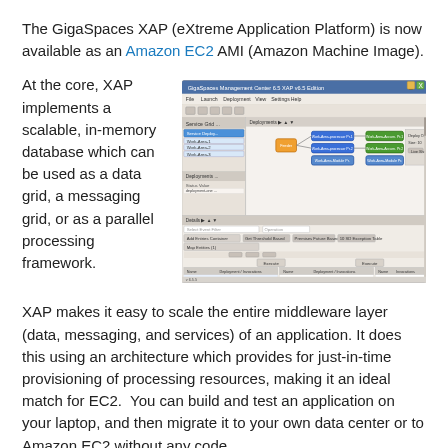The GigaSpaces XAP (eXtreme Application Platform) is now available as an Amazon EC2 AMI (Amazon Machine Image).
At the core, XAP implements a scalable, in-memory database which can be used as a data grid, a messaging grid, or as a parallel processing framework.
[Figure (screenshot): GigaSpaces Management Center 6.5 XAP with deployment topology view and details panel showing processing units and instances.]
XAP makes it easy to scale the entire middleware layer (data, messaging, and services) of an application. It does this using an architecture which provides for just-in-time provisioning of processing resources, making it an ideal match for EC2. You can build and test an application on your laptop, and then migrate it to your own data center or to Amazon EC2 without any code